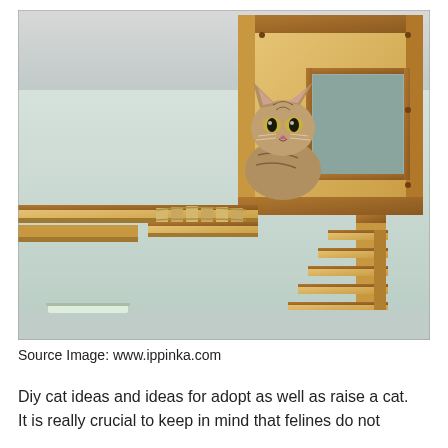[Figure (photo): A tabby cat sitting inside a modern wooden wall-mounted cat house with a rope bridge and stair ladder, photographed from below near the ceiling. The structure is made of light plywood with cutout windows.]
Source Image: www.ippinka.com
Diy cat ideas and ideas for adopt as well as raise a cat. It is really crucial to keep in mind that felines do not